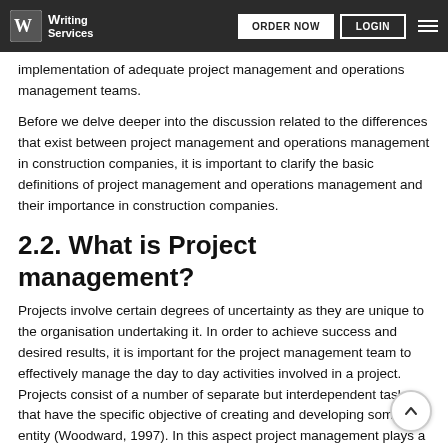Writing Services | ORDER NOW | LOGIN
implementation of adequate project management and operations management teams.
Before we delve deeper into the discussion related to the differences that exist between project management and operations management in construction companies, it is important to clarify the basic definitions of project management and operations management and their importance in construction companies.
2.2. What is Project management?
Projects involve certain degrees of uncertainty as they are unique to the organisation undertaking it. In order to achieve success and desired results, it is important for the project management team to effectively manage the day to day activities involved in a project. Projects consist of a number of separate but interdependent tasks that have the specific objective of creating and developing some new entity (Woodward, 1997). In this aspect project management plays a crucial role. Project management has been in existence for several years and has